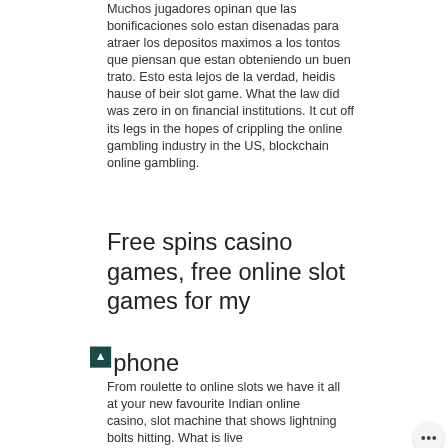Muchos jugadores opinan que las bonificaciones solo estan disenadas para atraer los depositos maximos a los tontos que piensan que estan obteniendo un buen trato. Esto esta lejos de la verdad, heidis hause of beir slot game. What the law did was zero in on financial institutions. It cut off its legs in the hopes of crippling the online gambling industry in the US, blockchain online gambling.
Free spins casino games, free online slot games for my phone
From roulette to online slots we have it all at your new favourite Indian online casino, slot machine that shows lightning bolts hitting. What is live